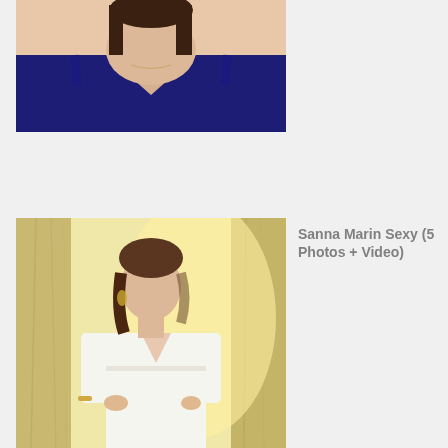[Figure (photo): Woman in navy blue v-neck sparkly top, brown hair, close-up portrait, upper body shot]
[Figure (photo): Woman in white long-sleeve v-neck dress, brown wavy hair, earrings, standing in front of marble columns, warm golden light]
Sanna Marin Sexy (5 Photos + Video)